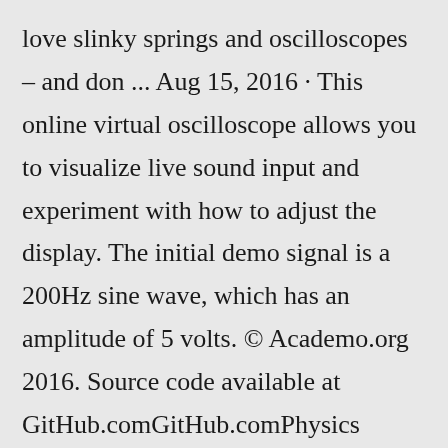love slinky springs and oscilloscopes – and don ... Aug 15, 2016 · This online virtual oscilloscope allows you to visualize live sound input and experiment with how to adjust the display. The initial demo signal is a 200Hz sine wave, which has an amplitude of 5 volts. © Academo.org 2016. Source code available at GitHub.comGitHub.comPhysics Sound Audio An oscilloscope is a useful tool for